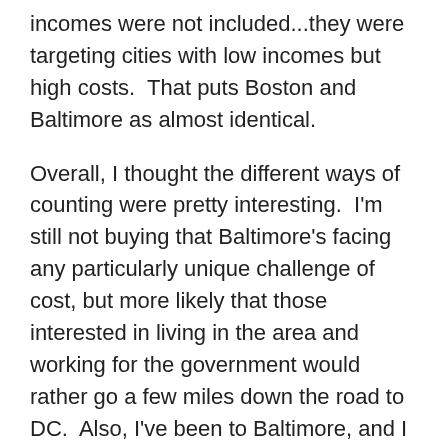incomes were not included...they were targeting cities with low incomes but high costs. That puts Boston and Baltimore as almost identical.
Overall, I thought the different ways of counting were pretty interesting. I'm still not buying that Baltimore's facing any particularly unique challenge of cost, but more likely that those interested in living in the area and working for the government would rather go a few miles down the road to DC. Also, I've been to Baltimore, and I got a little curious what would happen if you priced out the good areas of Baltimore. Once you get outside the inner harbor and a few other areas, things go downhill in a hurry, so I wouldn't be surprised if the average costs were a bit skewed.
Ah well, at least they have the Lombardi trophy for the